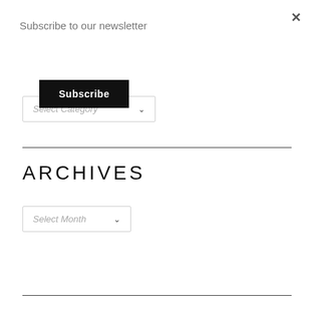Subscribe to our newsletter
Subscribe
Select Category
ARCHIVES
Select Month